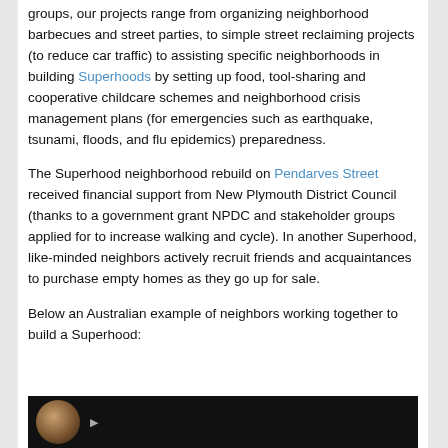groups, our projects range from organizing neighborhood barbecues and street parties, to simple street reclaiming projects (to reduce car traffic) to assisting specific neighborhoods in building Superhoods by setting up food, tool-sharing and cooperative childcare schemes and neighborhood crisis management plans (for emergencies such as earthquake, tsunami, floods, and flu epidemics) preparedness.
The Superhood neighborhood rebuild on Pendarves Street received financial support from New Plymouth District Council (thanks to a government grant NPDC and stakeholder groups applied for to increase walking and cycle). In another Superhood, like-minded neighbors actively recruit friends and acquaintances to purchase empty homes as they go up for sale.
Below an Australian example of neighbors working together to build a Superhood:
[Figure (photo): Video thumbnail with dark/black background showing a partial view of a person and some text at the bottom]